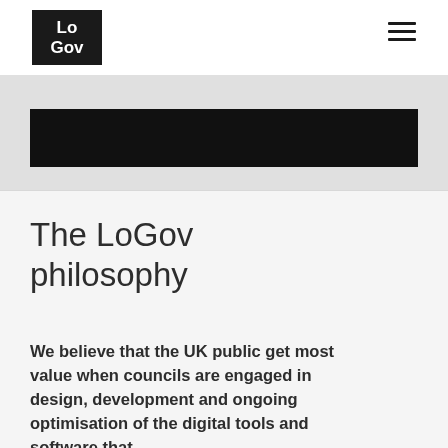LoGov
[Figure (other): Dark hero banner image strip]
The LoGov philosophy
We believe that the UK public get most value when councils are engaged in design, development and ongoing optimisation of the digital tools and software that